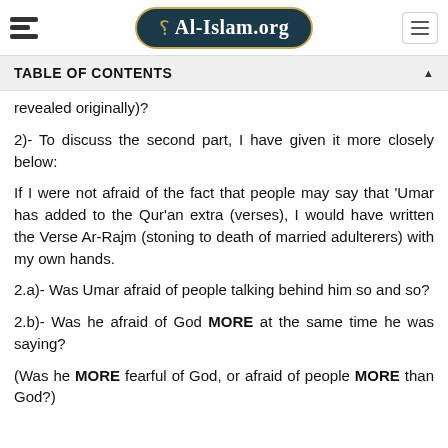Al-Islam.org
TABLE OF CONTENTS
revealed originally)?
2)- To discuss the second part, I have given it more closely below:
If I were not afraid of the fact that people may say that 'Umar has added to the Qur'an extra (verses), I would have written the Verse Ar-Rajm (stoning to death of married adulterers) with my own hands.
2.a)- Was Umar afraid of people talking behind him so and so?
2.b)- Was he afraid of God MORE at the same time he was saying?
(Was he MORE fearful of God, or afraid of people MORE than God?)